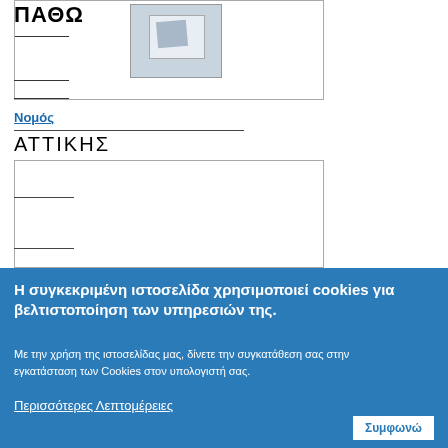[Figure (screenshot): Partial view of a Greek government web form showing a Νομός (Prefecture) field with ΑΤΤΙΚΗΣ selected and an image/photo placeholder at the top]
ΑΤΤΙΚΗΣ
Νομός
Η συγκεκριμένη ιστοσελίδα χρησιμοποιεί cookies για βελτιστοποίηση των υπηρεσιών της.
Με την χρήση της ιστοσελίδας μας, δίνετε την συγκατάθεση σας στην εγκατάσταση των Cookies στον υπολογιστή σας.
Περισσότερες Λεπτομέρειες
Συμφωνώ